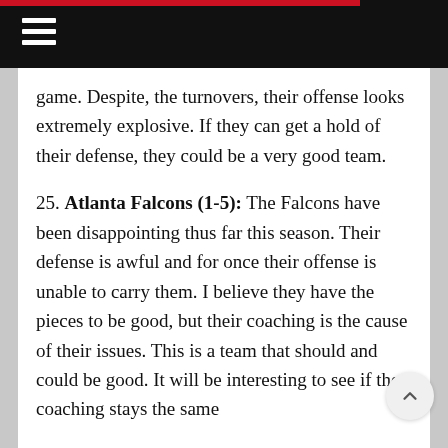≡
game. Despite, the turnovers, their offense looks extremely explosive. If they can get a hold of their defense, they could be a very good team.
25. Atlanta Falcons (1-5): The Falcons have been disappointing thus far this season. Their defense is awful and for once their offense is unable to carry them. I believe they have the pieces to be good, but their coaching is the cause of their issues. This is a team that should and could be good. It will be interesting to see if the coaching stays the same